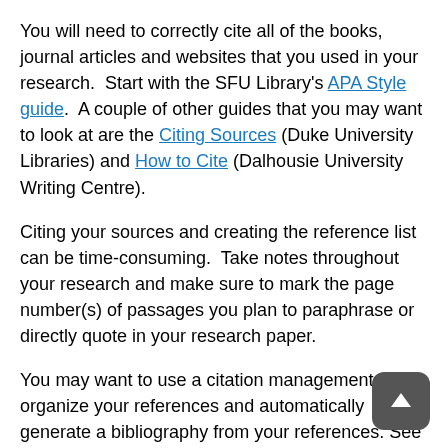You will need to correctly cite all of the books, journal articles and websites that you used in your research.  Start with the SFU Library's APA Style guide.  A couple of other guides that you may want to look at are the Citing Sources (Duke University Libraries) and How to Cite (Dalhousie University Writing Centre).
Citing your sources and creating the reference list can be time-consuming.  Take notes throughout your research and make sure to mark the page number(s) of passages you plan to paraphrase or directly quote in your research paper.
You may want to use a citation management tool to organize your references and automatically generate a bibliography from your references. See SFU Lib… Citation management software guide to help you… started.